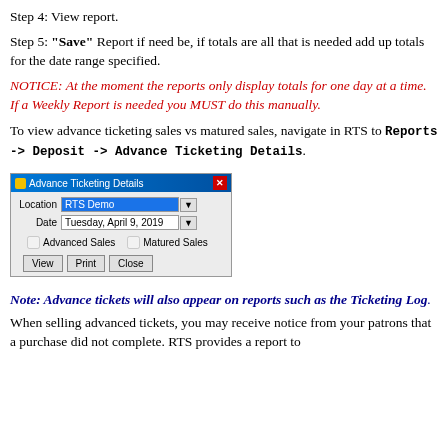Step 4: View report.
Step 5: "Save" Report if need be, if totals are all that is needed add up totals for the date range specified.
NOTICE: At the moment the reports only display totals for one day at a time. If a Weekly Report is needed you MUST do this manually.
To view advance ticketing sales vs matured sales, navigate in RTS to Reports -> Deposit -> Advance Ticketing Details.
[Figure (screenshot): Advance Ticketing Details dialog window showing Location (RTS Demo), Date (Tuesday, April 9, 2019), checkboxes for Advanced Sales and Matured Sales, and buttons View, Print, Close.]
Note: Advance tickets will also appear on reports such as the Ticketing Log.
When selling advanced tickets, you may receive notice from your patrons that a purchase did not complete. RTS provides a report to